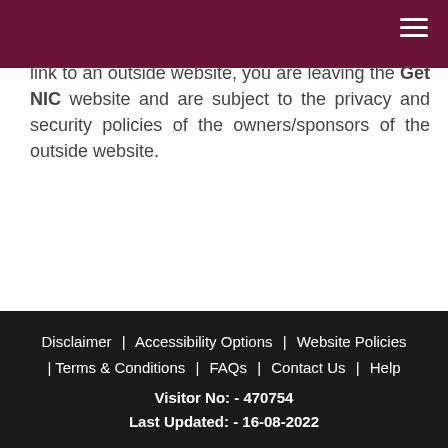link to an outside website, you are leaving the Get NIC website and are subject to the privacy and security policies of the owners/sponsors of the outside website.
Disclaimer | Accessibility Options | Website Policies | Terms & Conditions | FAQs | Contact Us | Help
Visitor No: - 470754
Last Updated: - 16-08-2022